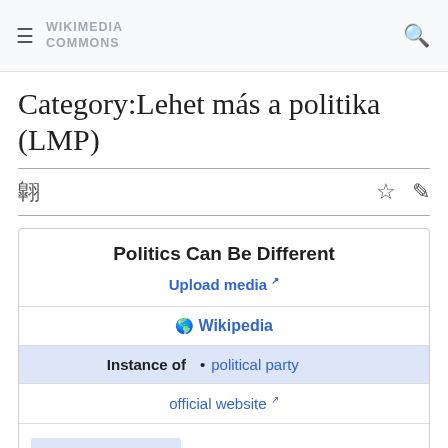WIKIMEDIA COMMONS
Category:Lehet más a politika (LMP)
Politics Can Be Different
Upload media
Wikipedia
| Instance of |  |
| --- | --- |
| Instance of | political party |
official website
Authority control